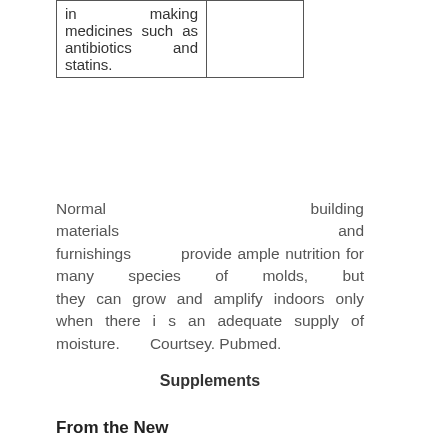| in making medicines such as antibiotics and statins. |  |
Normal building materials and furnishings provide ample nutrition for many species of molds, but they can grow and amplify indoors only when there is an adequate supply of moisture. Courtsey. Pubmed.
Supplements
From the New